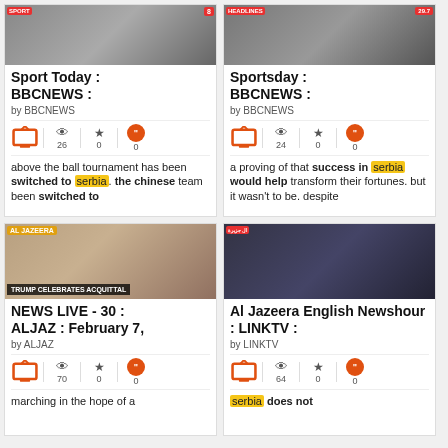[Figure (screenshot): Sport Today BBCNEWS card with thumbnail image, stats (26 views, 0 stars, 0 quotes), and snippet about ball tournament switched to serbia]
[Figure (screenshot): Sportsday BBCNEWS card with thumbnail image, stats (24 views, 0 stars, 0 quotes), and snippet about success in serbia]
[Figure (screenshot): NEWS LIVE - 30 : ALJAZ February 7 card with Trump image, stats (70 views, 0 stars, 0 quotes), and snippet about marching]
[Figure (screenshot): Al Jazeera English Newshour LINKTV card with news studio image, stats (64 views, 0 stars, 0 quotes), and snippet about serbia does not]